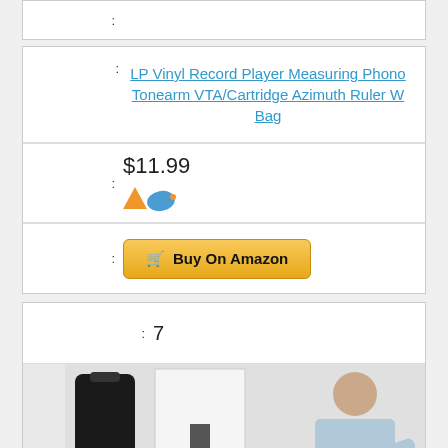| : |  |
| : | LP Vinyl Record Player Measuring Phono Tonearm VTA/Cartridge Azimuth Ruler W Bag |
| : | $11.99 |
| : | Buy On Amazon |
| : | 7 |
| : | [product image] |